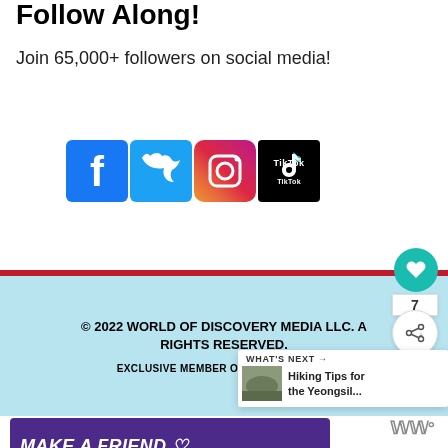Follow Along!
Join 65,000+ followers on social media!
[Figure (illustration): Four social media icons: Facebook (blue square with 'f'), Twitter (light blue square with bird), Instagram (gradient square with camera), TikTok (black square with TikTok logo)]
© 2022 WORLD OF DISCOVERY MEDIA LLC. ALL RIGHTS RESERVED.
EXCLUSIVE MEMBER OF MEDIAVINE TRAVEL
[Figure (infographic): Advertisement banner: purple background with text 'MAKE A FRIEND' in white italic bold, with small heart icons and a dog image]